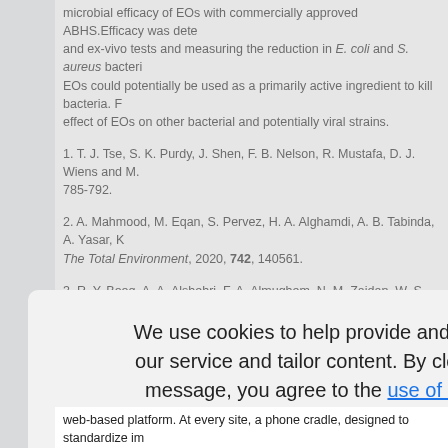microbial efficacy of EOs with commercially approved ABHS.Efficacy was determined using in-vitro and ex-vivo tests and measuring the reduction in E. coli and S. aureus bacteria. It was shown that EOs could potentially be used as a primarily active ingredient to kill bacteria. Further research is needed on the effect of EOs on other bacterial and potentially viral strains.
1. T. J. Tse, S. K. Purdy, J. Shen, F. B. Nelson, R. Mustafa, D. J. Wiens and M. … 785-792.
2. A. Mahmood, M. Eqan, S. Pervez, H. A. Alghamdi, A. B. Tabinda, A. Yasar, K… The Total Environment, 2020, 742, 140561.
3. R. Y. Booq, A. A. Alshehri, F. A. Almughem, N. M. Zaidan, W. S. Aburayan, A. … Alsuabeyl, E. J. Alyamani and E. A. Tawfik, International Journal of Environmental… 6252.
4. K. A. Hammer, C. F. Carson and T. V. Riley, Journal of Applied Microbiology, …
We use cookies to help provide and enhance our service and tailor content. By closing this message, you agree to the use of cookies.
Close
web-based platform. At every site, a phone cradle, designed to standardize image…